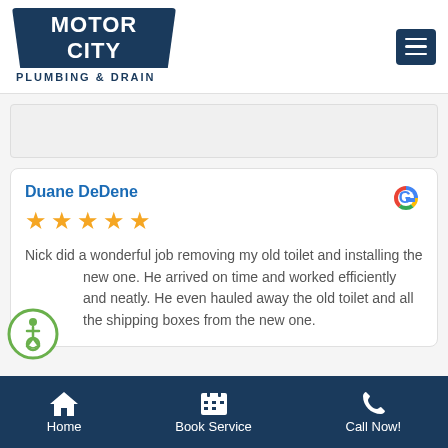[Figure (logo): Motor City Plumbing & Drain logo — dark blue badge shape with white text 'MOTOR CITY' and black text 'PLUMBING & DRAIN' below]
[Figure (other): Dark blue hamburger menu button with three white horizontal lines]
[Figure (other): Gray placeholder box]
Duane DeDene
[Figure (other): Five orange star rating icons]
Nick did a wonderful job removing my old toilet and installing the new one. He arrived on time and worked efficiently and neatly. He even hauled away the old toilet and all the shipping boxes from the new one.
[Figure (logo): Google 'G' logo in multicolor (red, yellow, green, blue)]
[Figure (other): Green circle accessibility icon with wheelchair symbol]
Home   Book Service   Call Now!